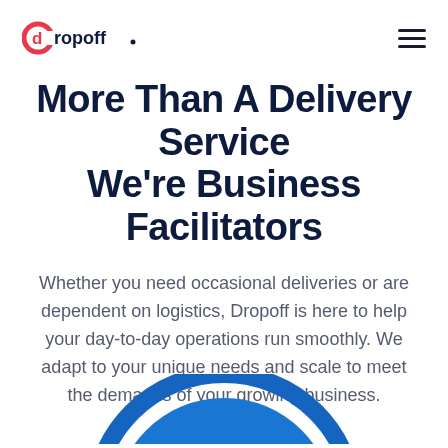dropoff [logo] | hamburger menu
More Than A Delivery Service We're Business Facilitators
Whether you need occasional deliveries or are dependent on logistics, Dropoff is here to help your day-to-day operations run smoothly. We adapt to your unique needs and scale to meet the demands of your growing business.
[Figure (illustration): Partial blue circle arc visible at the bottom center of the page, suggesting a circular decorative element or image container]